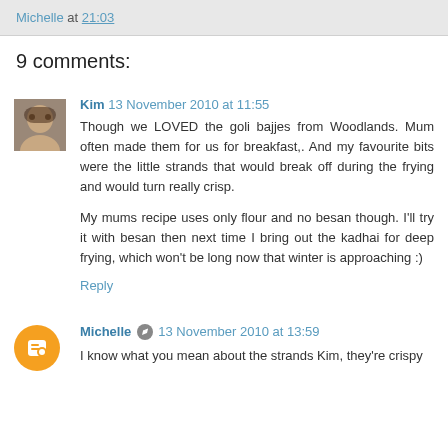Michelle at 21:03
9 comments:
Kim 13 November 2010 at 11:55
Though we LOVED the goli bajjes from Woodlands. Mum often made them for us for breakfast,. And my favourite bits were the little strands that would break off during the frying and would turn really crisp.

My mums recipe uses only flour and no besan though. I'll try it with besan then next time I bring out the kadhai for deep frying, which won't be long now that winter is approaching :)
Reply
Michelle 13 November 2010 at 13:59
I know what you mean about the strands Kim, they're crispy